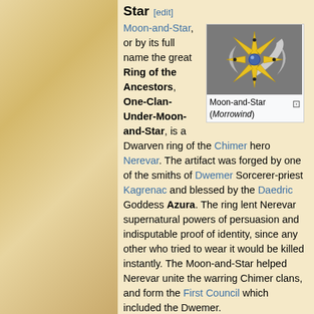Star [edit]
[Figure (illustration): 3D render of the Moon-and-Star ring artifact from Morrowind — a golden star-shaped ring with a crescent moon and a blue gem at the center, set against a gray background.]
Moon-and-Star (Morrowind)
Moon-and-Star, or by its full name the great Ring of the Ancestors, One-Clan-Under-Moon-and-Star, is a Dwarven ring of the Chimer hero Nerevar. The artifact was forged by one of the smiths of Dwemer Sorcerer-priest Kagrenac and blessed by the Daedric Goddess Azura. The ring lent Nerevar supernatural powers of persuasion and indisputable proof of identity, since any other who tried to wear it would be killed instantly. The Moon-and-Star helped Nerevar unite the warring Chimer clans, and form the First Council which included the Dwemer.
Moon-and-Star played a role in the Nerevarine Prophecies, and allowed the Nerevarine, the reincarnation of Nerevar, to